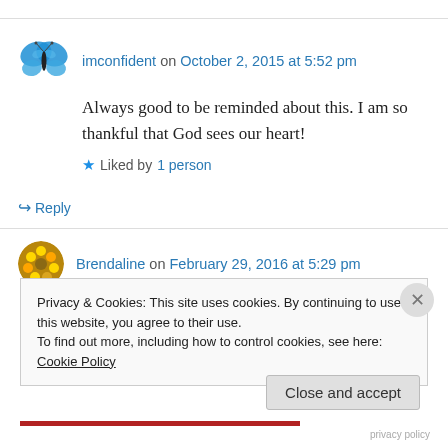imconfident on October 2, 2015 at 5:52 pm
Always good to be reminded about this. I am so thankful that God sees our heart!
Liked by 1 person
Reply
Brendaline on February 29, 2016 at 5:29 pm
Privacy & Cookies: This site uses cookies. By continuing to use this website, you agree to their use.
To find out more, including how to control cookies, see here: Cookie Policy
Close and accept